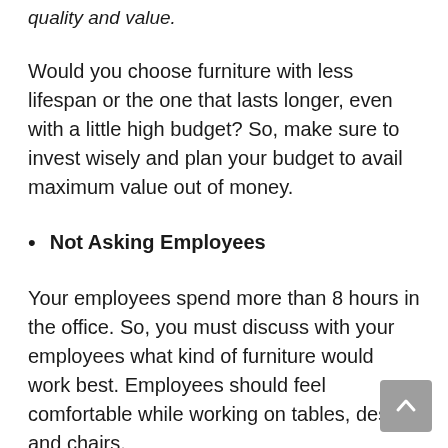quality and value.
Would you choose furniture with less lifespan or the one that lasts longer, even with a little high budget? So, make sure to invest wisely and plan your budget to avail maximum value out of money.
Not Asking Employees
Your employees spend more than 8 hours in the office. So, you must discuss with your employees what kind of furniture would work best. Employees should feel comfortable while working on tables, desks, and chairs.
Choosing Bright Colours